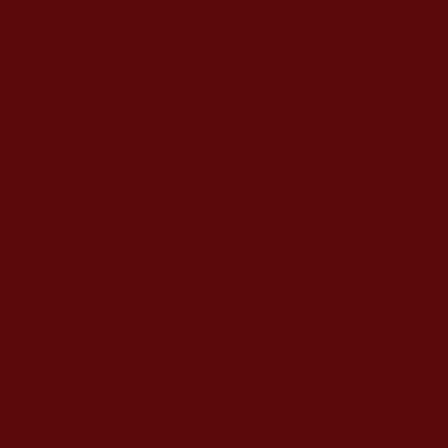The day before and th... some HAARP activity ... clouds", and then, 4 d...
Someone told me he s... the sun had a deep or... sensation of skin and ... complaining as well.
A short search reveale... the gulf of Mexico, but...
Quoted from:
http://www.co.pasquot...
"In the Eastern United... originating in the Gulf... (typic...